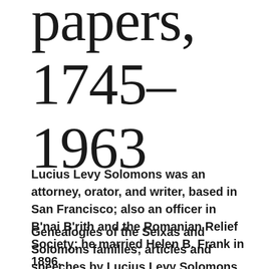papers, 1745–1963
Lucius Levy Solomons was an attorney, orator, and writer, based in San Francisco; also an officer in B'nai B'rith and the Romanian Relief Society; he married Helen B. Frank in 1896.
Genealogies of the Seixas and Solomons families; articles and speeches by Lucius Levy Solomons on such topics as the meaning of Judaism, the Jew in the Diaspora, anti-Semitism, Palestine, immigration,